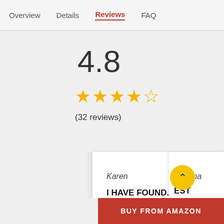Overview  Details  Reviews  FAQ
4.8
★★★★☆
(32 reviews)
Karen
I HAVE FOUND...
★★★★★
Brianna
EST
★★★
BUY FROM AMAZON